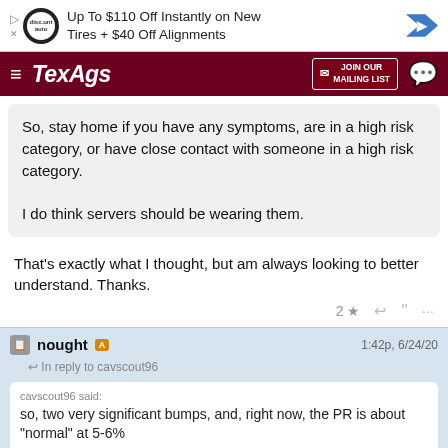[Figure (screenshot): Ad banner: Discount auto tires promotion - Up To $110 Off Instantly on New Tires + $40 Off Alignments]
[Figure (screenshot): TexAgs website navigation bar with hamburger menu, logo, Join Our Mailing List button, and chat icon]
So, stay home if you have any symptoms, are in a high risk category, or have close contact with someone in a high risk category.

I do think servers should be wearing them.
That's exactly what I thought, but am always looking to better understand. Thanks.
nought  A   1:42p, 6/24/20
In reply to cavscout96
cavscout96 said:
so, two very significant bumps, and, right now, the PR is about "normal" at 5-6%